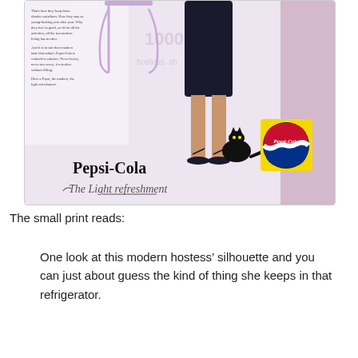[Figure (illustration): Vintage Pepsi-Cola advertisement showing a woman's legs in heels with a black cat, a decorative table, and a Pepsi-Cola bottle cap logo. Text reads 'Pepsi-Cola The Light refreshment' and small print about modern hostess silhouette.]
The small print reads:
One look at this modern hostess’ silhouette and you can just about guess the kind of thing she keeps in that refrigerator.